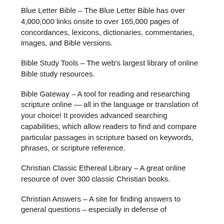Blue Letter Bible – The Blue Letter Bible has over 4,000,000 links onsite to over 165,000 pages of concordances, lexicons, dictionaries, commentaries, images, and Bible versions.
Bible Study Tools – The web's largest library of online Bible study resources.
Bible Gateway – A tool for reading and researching scripture online — all in the language or translation of your choice! It provides advanced searching capabilities, which allow readers to find and compare particular passages in scripture based on keywords, phrases, or scripture reference.
Christian Classic Ethereal Library – A great online resource of over 300 classic Christian books.
Christian Answers – A site for finding answers to general questions – especially in defense of